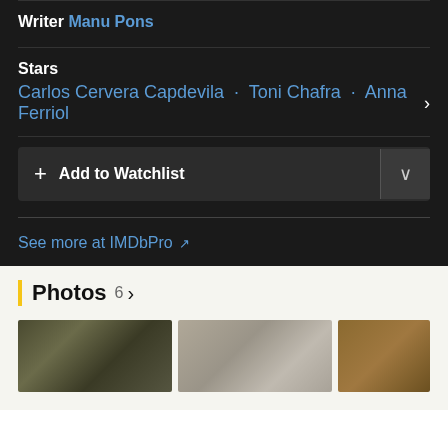Writer Manu Pons
Stars Carlos Cervera Capdevila · Toni Chafra · Anna Ferriol
+ Add to Watchlist
See more at IMDbPro ↗
Photos 6 >
[Figure (photo): Three thumbnail photos in a horizontal grid under the Photos section]